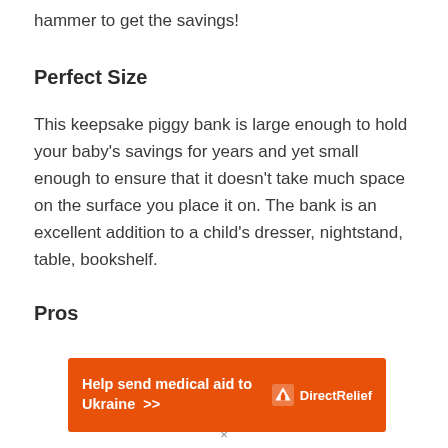hammer to get the savings!
Perfect Size
This keepsake piggy bank is large enough to hold your baby's savings for years and yet small enough to ensure that it doesn't take much space on the surface you place it on. The bank is an excellent addition to a child's dresser, nightstand, table, bookshelf.
Pros
[Figure (infographic): Orange advertisement banner for Direct Relief: 'Help send medical aid to Ukraine >>' with Direct Relief logo on the right.]